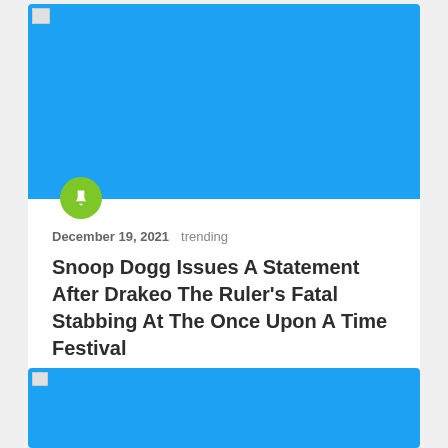[Figure (photo): Blue placeholder image at top of article card]
December 19, 2021   trending
Snoop Dogg Issues A Statement After Drakeo The Ruler's Fatal Stabbing At The Once Upon A Time Festival
[Figure (photo): Blue placeholder image at top of second article card]